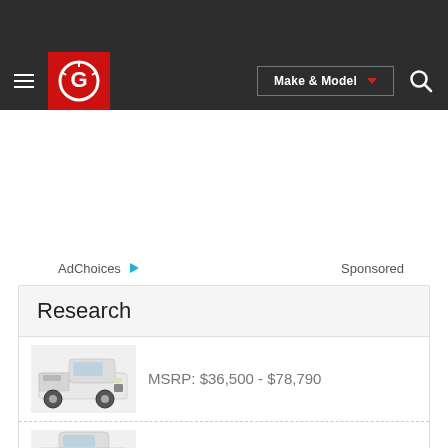[Figure (screenshot): Dark top navigation bar of a car research website (CarGurus). Contains hamburger menu, red logo with white G-speedometer icon, Make & Model dropdown button, and search icon.]
AdChoices   Sponsored
Research
MSRP: $36,500 - $78,790
[Figure (photo): White RAM 1500 pickup truck, front 3/4 view]